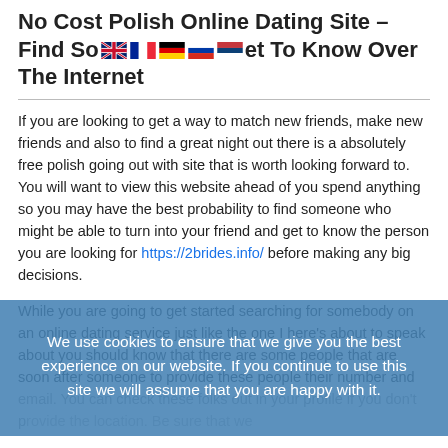No Cost Polish Online Dating Site – Find Someone To Get To Know Over The Internet
If you are looking to get a way to match new friends, make new friends and also to find a great night out there is a absolutely free polish going out with site that is worth looking forward to. You will want to view this website ahead of you spend anything so you may have the best probability to find someone who might be able to turn into your friend and get to know the person you are looking for https://2brides.info/ before making any big decisions.
While you are going to get started searching for somebody on an online dating service just like the one I here's about to speak about you should know that there are some people that are soon after someone to provide these people their number and email. You can check these folks out in your profile if you don't provide the location. Be sure that we...
We use cookies to ensure that we give you the best experience on our website. If you continue to use this site we will assume that you are happy with it.
There are several people who might want to contact you but are not trying to find you to provide them with any information